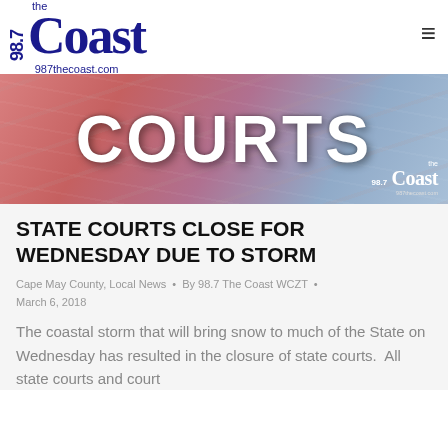98.7 the Coast — 987thecoast.com
[Figure (photo): Hero banner image with stylized text 'COURTS' on a pink-blue gradient background, with 98.7 The Coast logo watermark in bottom right corner]
STATE COURTS CLOSE FOR WEDNESDAY DUE TO STORM
Cape May County, Local News • By 98.7 The Coast WCZT • March 6, 2018
The coastal storm that will bring snow to much of the State on Wednesday has resulted in the closure of state courts.  All state courts and court